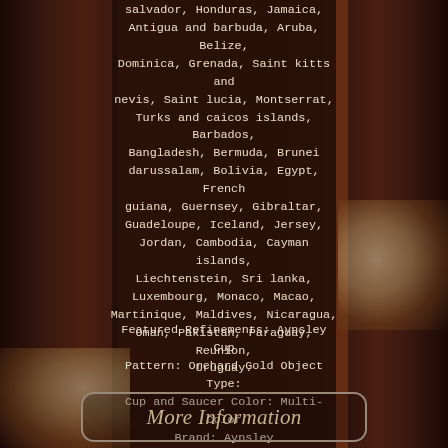[Figure (photo): Dark brown background photo showing tea cups and saucers on a wooden table, with a dark center panel overlaid with text.]
salvador, Honduras, Jamaica, Antigua and barbuda, Aruba, Belize, Dominica, Grenada, Saint kitts and nevis, Saint lucia, Montserrat, Turks and caicos islands, Barbados, Bangladesh, Bermuda, Brunei darussalam, Bolivia, Egypt, French guiana, Guernsey, Gibraltar, Guadeloupe, Iceland, Jersey, Jordan, Cambodia, Cayman islands, Liechtenstein, Sri lanka, Luxembourg, Monaco, Macao, Martinique, Maldives, Nicaragua, Oman, Pakistan, Paraguay, Reunion, Uruguay.
Featured Refinements: Aynsley Cup Pattern: Orchard Gold Object Type: Cup and Saucer Color: Multi-Color Brand: Aynsley
More Information